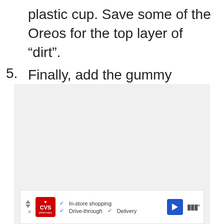plastic cup. Save some of the Oreos for the top layer of “dirt”.
5. Finally, add the gummy worms on top!
[Figure (other): Light gray image placeholder with three dots (carousel indicators) at the bottom center]
In-store shopping  Drive-through  Delivery